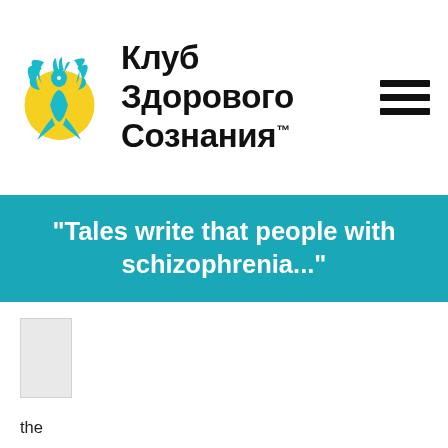Клуб Здорового Сознания™
"Tales write that people with schizophrenia..."
[Figure (illustration): A small white/light gray rectangular image placeholder]
the
the other day On my seminar was the student of one of prestigious Moscow high schools. She is studying to be a